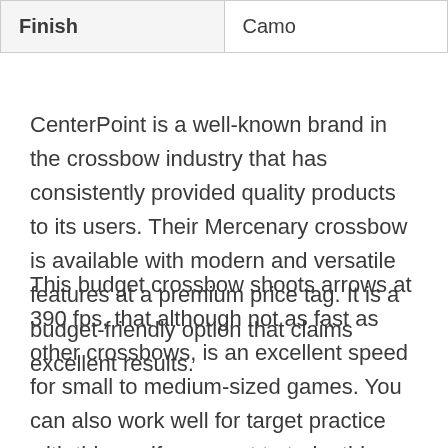| Finish | Camo |
| --- | --- |
CenterPoint is a well-known brand in the crossbow industry that has consistently provided quality products to its users. Their Mercenary crossbow is available with modern and versatile features at a premium price tag. It is a budget-friendly option that claims excellent results.
This budget crossbow shoots arrows at 390 fps, that although not as fast as other crossbows, is an excellent speed for small to medium-sized games. You can also work well for target practice with this, so if you want to train, this may be a good option for you.